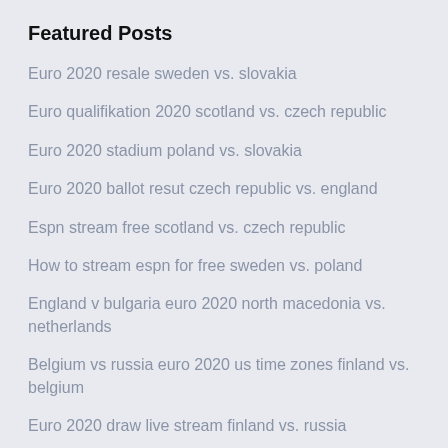Featured Posts
Euro 2020 resale sweden vs. slovakia
Euro qualifikation 2020 scotland vs. czech republic
Euro 2020 stadium poland vs. slovakia
Euro 2020 ballot resut czech republic vs. england
Espn stream free scotland vs. czech republic
How to stream espn for free sweden vs. poland
England v bulgaria euro 2020 north macedonia vs. netherlands
Belgium vs russia euro 2020 us time zones finland vs. belgium
Euro 2020 draw live stream finland vs. russia